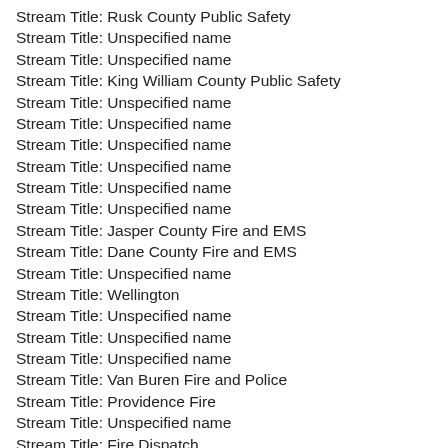Stream Title: Rusk County Public Safety
Stream Title: Unspecified name
Stream Title: Unspecified name
Stream Title: King William County Public Safety
Stream Title: Unspecified name
Stream Title: Unspecified name
Stream Title: Unspecified name
Stream Title: Unspecified name
Stream Title: Unspecified name
Stream Title: Unspecified name
Stream Title: Jasper County Fire and EMS
Stream Title: Dane County Fire and EMS
Stream Title: Unspecified name
Stream Title: Wellington
Stream Title: Unspecified name
Stream Title: Unspecified name
Stream Title: Unspecified name
Stream Title: Van Buren Fire and Police
Stream Title: Providence Fire
Stream Title: Unspecified name
Stream Title: Fire Dispatch
Stream Title: Unspecified name
Stream Title: Unspecified name
Stream Title: Unspecified name
Stream Title: Unspecified name